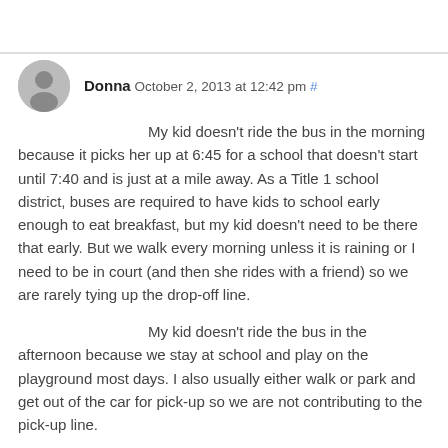Donna October 2, 2013 at 12:42 pm #
My kid doesn't ride the bus in the morning because it picks her up at 6:45 for a school that doesn't start until 7:40 and is just at a mile away. As a Title 1 school district, buses are required to have kids to school early enough to eat breakfast, but my kid doesn't need to be there that early. But we walk every morning unless it is raining or I need to be in court (and then she rides with a friend) so we are rarely tying up the drop-off line.
My kid doesn't ride the bus in the afternoon because we stay at school and play on the playground most days. I also usually either walk or park and get out of the car for pick-up so we are not contributing to the pick-up line.
But the pick-up line is INSANE. It blocks up traffic on the road in front of the school – a heavily used road and not just a neighborhood road. Yes, people begin to line up waaaaay